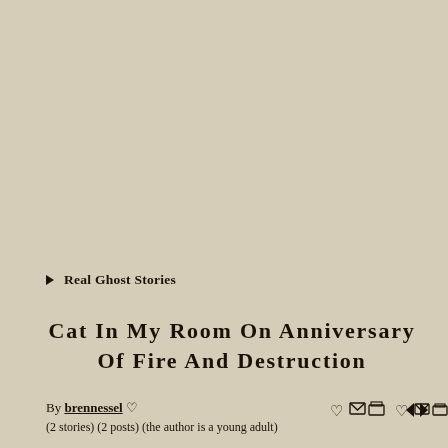▶ Real Ghost Stories
Cat In My Room On Anniversary Of Fire And Destruction
By brennessel ♡
(2 stories) (2 posts) (the author is a young adult)